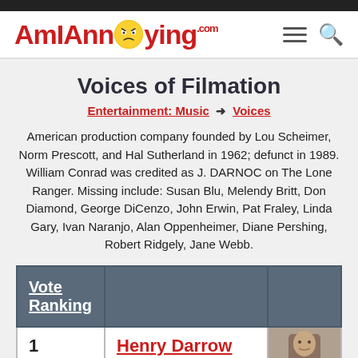AmIAnnoying.com
Voices of Filmation
Entertainment: Music → Voices
American production company founded by Lou Scheimer, Norm Prescott, and Hal Sutherland in 1962; defunct in 1989. William Conrad was credited as J. DARNOC on The Lone Ranger. Missing include: Susan Blu, Melendy Britt, Don Diamond, George DiCenzo, John Erwin, Pat Fraley, Linda Gary, Ivan Naranjo, Alan Oppenheimer, Diane Pershing, Robert Ridgely, Jane Webb.
| Vote Ranking |  |  |
| --- | --- | --- |
| 1 | Henry Darrow
Actor |  |